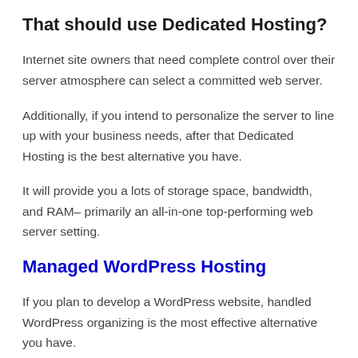That should use Dedicated Hosting?
Internet site owners that need complete control over their server atmosphere can select a committed web server.
Additionally, if you intend to personalize the server to line up with your business needs, after that Dedicated Hosting is the best alternative you have.
It will provide you a lots of storage space, bandwidth, and RAM– primarily an all-in-one top-performing web server setting.
Managed WordPress Hosting
If you plan to develop a WordPress website, handled WordPress organizing is the most effective alternative you have.